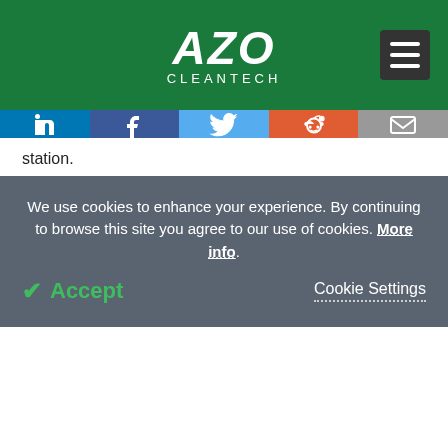AZO CLEANTECH
station.
Spatial Characterization of VOC Emissions
During the drive, a number of VOC hotspots were immediately visible to the operators. Hotspots were
We use cookies to enhance your experience. By continuing to browse this site you agree to our use of cookies. More info.
Accept
Cookie Settings